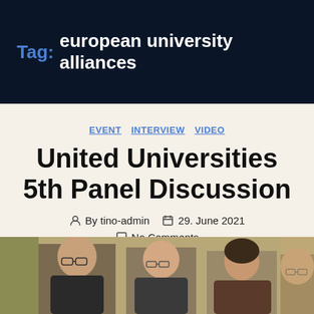Tag: european university alliances
EVENT  INTERVIEW  VIDEO
United Universities 5th Panel Discussion
By tino-admin  29. June 2021  No Comments
[Figure (photo): Group photo of four panelists/speakers, partially visible, cropped at bottom of page]